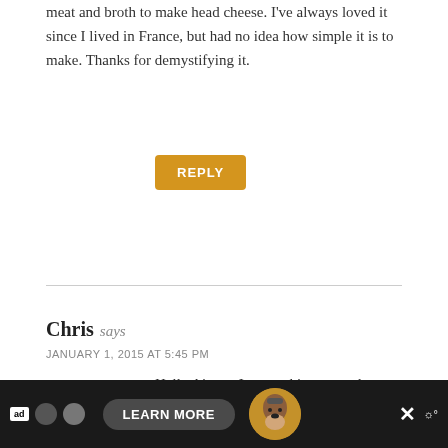meat and broth to make head cheese. I've always loved it since I lived in France, but had no idea how simple it is to make. Thanks for demystifying it.
REPLY
Chris says
JANUARY 1, 2015 AT 5:45 PM
Hello Aimee, I was poking around looking for headcheese recipes and really enjoyed your post. My wife and I bought a 1/2 pig recently and I asked for the head for this purpose. I have never made head cheese but do like it quite well. I am trying to learn charcuterie and am excited about this adventure. Interestingly, the butcher who I got the pig from was
[Figure (screenshot): Advertisement banner at the bottom with dark background showing Smokey Bear, a Learn More button, and other UI elements]